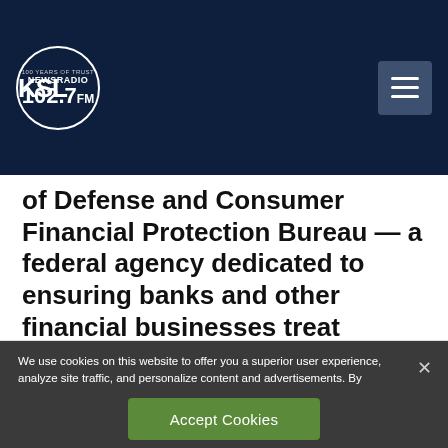KSL NewsRadio 102.7FM — 100 Years of Trust
of Defense and Consumer Financial Protection Bureau — a federal agency dedicated to ensuring banks and other financial businesses treat customers fairly.
We use cookies on this website to offer you a superior user experience, analyze site traffic, and personalize content and advertisements. By continuing to use our site, you consent to our use of cookies. Please visit our Privacy Policy for more information.
Accept Cookies